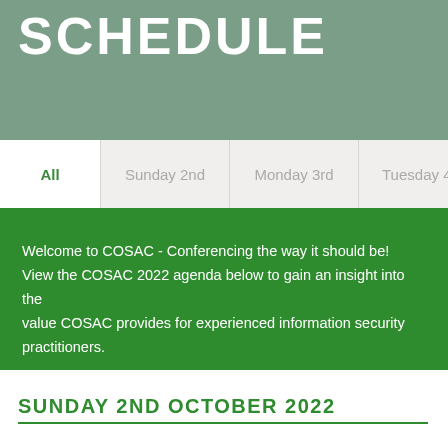SCHEDULE
All | Sunday 2nd | Monday 3rd | Tuesday 4th | We
Welcome to COSAC - Conferencing the way it should be! View the COSAC 2022 agenda below to gain an insight into the value COSAC provides for experienced information security practitioners.
SUNDAY 2ND OCTOBER 2022